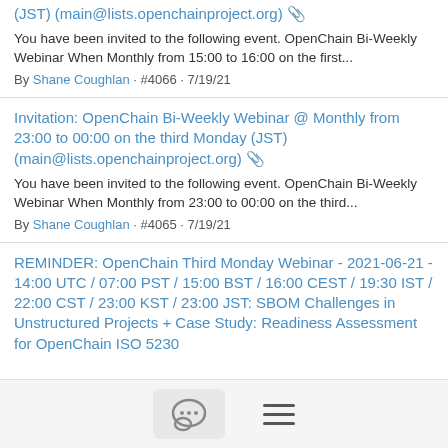(JST) (main@lists.openchainproject.org) 📎
You have been invited to the following event. OpenChain Bi-Weekly Webinar When Monthly from 15:00 to 16:00 on the first...
By Shane Coughlan · #4066 · 7/19/21
Invitation: OpenChain Bi-Weekly Webinar @ Monthly from 23:00 to 00:00 on the third Monday (JST) (main@lists.openchainproject.org) 📎
You have been invited to the following event. OpenChain Bi-Weekly Webinar When Monthly from 23:00 to 00:00 on the third...
By Shane Coughlan · #4065 · 7/19/21
REMINDER: OpenChain Third Monday Webinar - 2021-06-21 - 14:00 UTC / 07:00 PST / 15:00 BST / 16:00 CEST / 19:30 IST / 22:00 CST / 23:00 KST / 23:00 JST: SBOM Challenges in Unstructured Projects + Case Study: Readiness Assessment for OpenChain ISO 5230